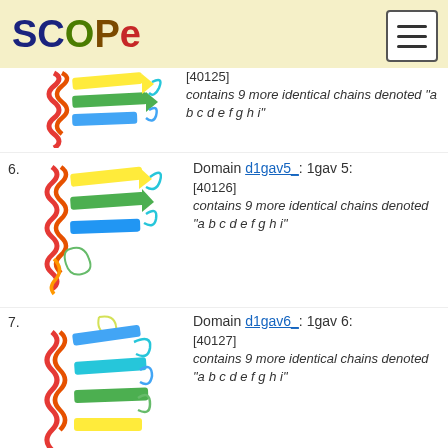SCOPe
[Figure (illustration): Partial protein structure image for entry 5 (top cropped), rainbow-colored ribbon diagram]
[40125] contains 9 more identical chains denoted "a b c d e f g h i"
6. Domain d1gav5_: 1gav 5: [40126] contains 9 more identical chains denoted "a b c d e f g h i"
[Figure (illustration): Protein structure ribbon diagram for domain d1gav5_, rainbow-colored helices and sheets]
7. Domain d1gav6_: 1gav 6: [40127] contains 9 more identical chains denoted "a b c d e f g h i"
[Figure (illustration): Protein structure ribbon diagram for domain d1gav6_, rainbow-colored helices and sheets]
8. Domain d1gav7_: 1gav 7: [40128] contains 9 more identical chains denoted "a b c d e f g h i"
[Figure (illustration): Protein structure ribbon diagram for domain d1gav7_, rainbow-colored helices and sheets]